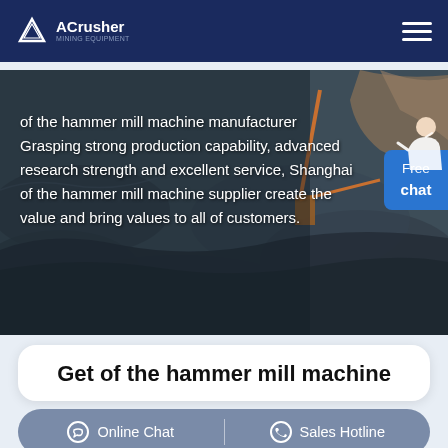ACrusher
[Figure (photo): Aerial view of a mining/quarry operation with heavy machinery and rock terrain, dark grey stone landscape]
of the hammer mill machine manufacturer Grasping strong production capability, advanced research strength and excellent service, Shanghai of the hammer mill machine supplier create the value and bring values to all of customers.
Get of the hammer mill machine
Online Chat | Sales Hotline